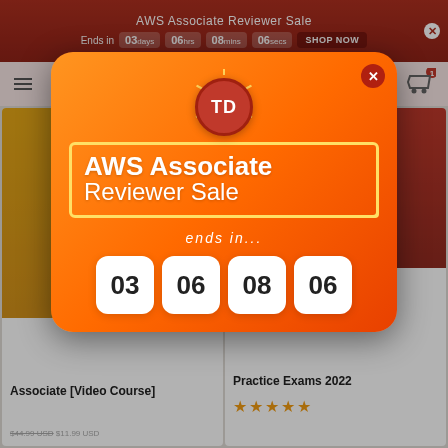AWS Associate Reviewer Sale
Ends in  03days  06hrs  08mins  06secs  SHOP NOW
[Figure (screenshot): E-learning website screenshot showing popup modal for AWS Associate Reviewer Sale with countdown timer showing 03 days, 06 hrs, 08 mins, 06 secs, TD logo, and product cards in background]
AWS Associate Reviewer Sale
ends in...
03  06  08  06
Associate [Video Course]
Practice Exams 2022